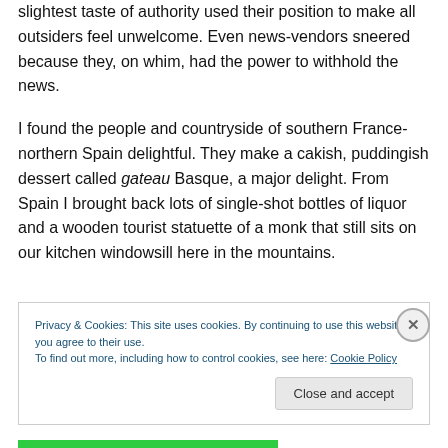slightest taste of authority used their position to make all outsiders feel unwelcome. Even news-vendors sneered because they, on whim, had the power to withhold the news.
I found the people and countryside of southern France-northern Spain delightful. They make a cakish, puddingish dessert called gateau Basque, a major delight. From Spain I brought back lots of single-shot bottles of liquor and a wooden tourist statuette of a monk that still sits on our kitchen windowsill here in the mountains.
Privacy & Cookies: This site uses cookies. By continuing to use this website, you agree to their use. To find out more, including how to control cookies, see here: Cookie Policy